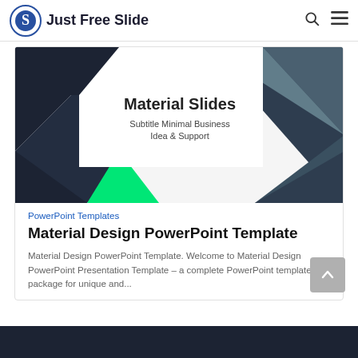Just Free Slide
[Figure (screenshot): Screenshot of a PowerPoint slide preview showing 'Material Slides – Subtitle Minimal Business Idea & Support' with dark geometric triangles on left and right, a green triangle bottom-left, and gray triangles on the right side.]
PowerPoint Templates
Material Design PowerPoint Template
Material Design PowerPoint Template. Welcome to Material Design PowerPoint Presentation Template – a complete PowerPoint template package for unique and...